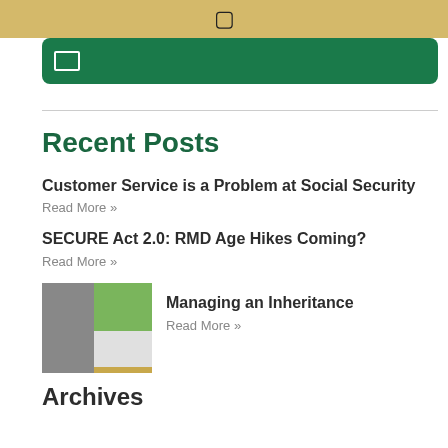Recent Posts
Customer Service is a Problem at Social Security
Read More »
SECURE Act 2.0: RMD Age Hikes Coming?
Read More »
[Figure (photo): Thumbnail image for Managing an Inheritance article showing a person and green/white panel]
Managing an Inheritance
Read More »
Archives